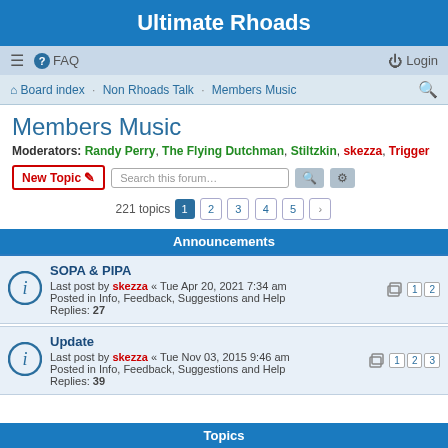Ultimate Rhoads
≡  FAQ    Login
Board index · Non Rhoads Talk · Members Music
Members Music
Moderators: Randy Perry, The Flying Dutchman, Stiltzkin, skezza, Trigger
221 topics  1 2 3 4 5 >
Announcements
SOPA & PIPA
Last post by skezza « Tue Apr 20, 2021 7:34 am
Posted in Info, Feedback, Suggestions and Help
Replies: 27
Update
Last post by skezza « Tue Nov 03, 2015 9:46 am
Posted in Info, Feedback, Suggestions and Help
Replies: 39
Topics